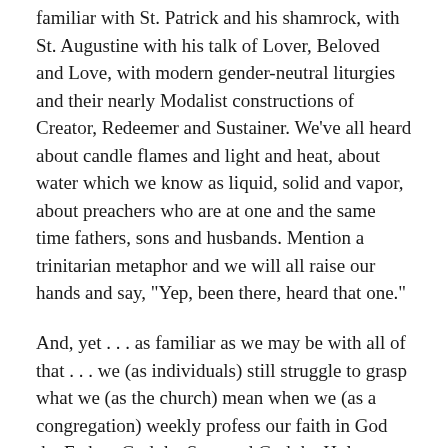familiar with St. Patrick and his shamrock, with St. Augustine with his talk of Lover, Beloved and Love, with modern gender-neutral liturgies and their nearly Modalist constructions of Creator, Redeemer and Sustainer. We've all heard about candle flames and light and heat, about water which we know as liquid, solid and vapor, about preachers who are at one and the same time fathers, sons and husbands. Mention a trinitarian metaphor and we will all raise our hands and say, "Yep, been there, heard that one."
And, yet . . . as familiar as we may be with all of that . . . we (as individuals) still struggle to grasp what we (as the church) mean when we (as a congregation) weekly profess our faith in God the Father, God the Son, and God the Holy Spirit, insisting that there are not three gods, but one God. The reason we struggle is that this doctrine, this theological perception, this self-revelation of God is a mystery in the truest sense of that word.